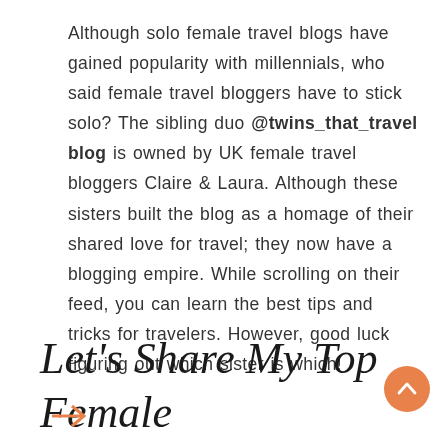Although solo female travel blogs have gained popularity with millennials, who said female travel bloggers have to stick solo? The sibling duo @twins_that_travel blog is owned by UK female travel bloggers Claire & Laura. Although these sisters built the blog as a homage of their shared love for travel; they now have a blogging empire. While scrolling on their feed, you can learn the best tips and tricks for travelers. However, good luck figuring out which sister is which!
Let's Share My Top Female Jack Travel Blogs | Female